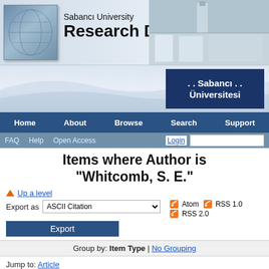[Figure (screenshot): Sabanci University Research Database header banner with globe icon, university building photo, and text 'Sabanci University Research Database']
[Figure (logo): Sabanci Universitesi logo — dark blue box with white text '. . Sabanci . Universitesi']
Home | About | Browse | Search | Support
FAQ  Help  Open Access  Login [input]
Items where Author is "Whitcomb, S. E."
Up a level
Export as ASCII Citation  [dropdown]  Atom  RSS 1.0  RSS 2.0
Export [button]
Group by: Item Type | No Grouping
Jump to: Article